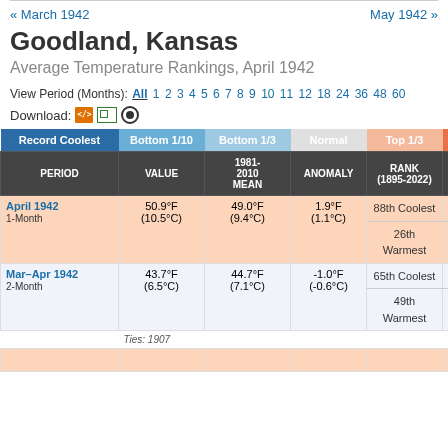« March 1942    May 1942 »
Goodland, Kansas
Average Temperature Rankings, April 1942
View Period (Months): All 1 2 3 4 5 6 7 8 9 10 11 12 18 24 36 48 60
Download:
| PERIOD | VALUE | 1981-2010 MEAN | ANOMALY | RANK (1895-2022) | WA... |
| --- | --- | --- | --- | --- | --- |
| April 1942
1-Month | 50.9°F
(10.5°C) | 49.0°F
(9.4°C) | 1.9°F
(1.1°C) | 88th Coolest
26th Warmest | Coo...
Wa... |
| Mar–Apr 1942
2-Month | 43.7°F
(6.5°C) | 44.7°F
(7.1°C) | -1.0°F
(-0.6°C) | 65th Coolest
49th Warmest | Coo...
Wa... |
|  |  |  |  | Ties: 1907 |  |